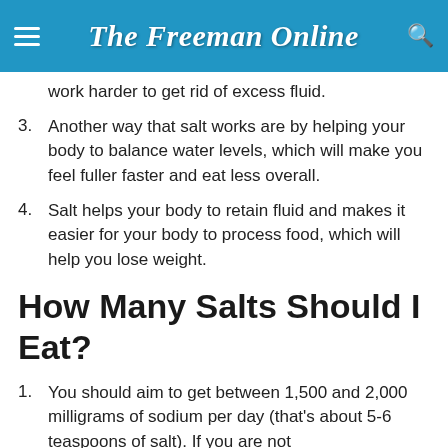The Freeman Online
work harder to get rid of excess fluid.
Another way that salt works are by helping your body to balance water levels, which will make you feel fuller faster and eat less overall.
Salt helps your body to retain fluid and makes it easier for your body to process food, which will help you lose weight.
How Many Salts Should I Eat?
You should aim to get between 1,500 and 2,000 milligrams of sodium per day (that's about 5-6 teaspoons of salt). If you are not